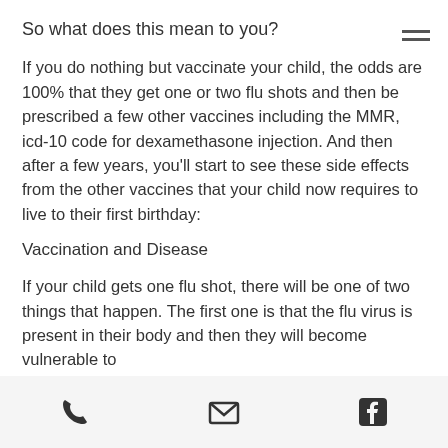So what does this mean to you?
If you do nothing but vaccinate your child, the odds are 100% that they get one or two flu shots and then be prescribed a few other vaccines including the MMR, icd-10 code for dexamethasone injection. And then after a few years, you'll start to see these side effects from the other vaccines that your child now requires to live to their first birthday:
Vaccination and Disease
If your child gets one flu shot, there will be one of two things that happen. The first one is that the flu virus is present in their body and then they will become vulnerable to
phone | email | facebook